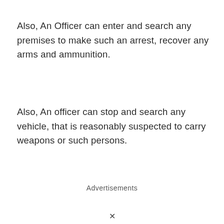Also, An Officer can enter and search any premises to make such an arrest, recover any arms and ammunition.
Also, An officer can stop and search any vehicle, that is reasonably suspected to carry weapons or such persons.
Advertisements